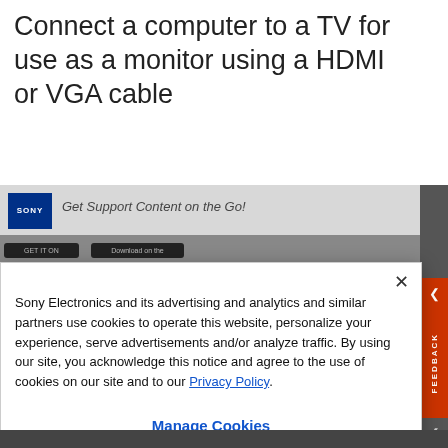Connect a computer to a TV for use as a monitor using a HDMI or VGA cable
[Figure (screenshot): Sony support page screenshot showing a Sony logo banner with 'Get Support Content on the Go!' text and app download buttons below]
Sony Electronics and its advertising and analytics and similar partners use cookies to operate this website, personalize your experience, serve advertisements and/or analyze traffic. By using our site, you acknowledge this notice and agree to the use of cookies on our site and to our Privacy Policy.
Manage Cookies